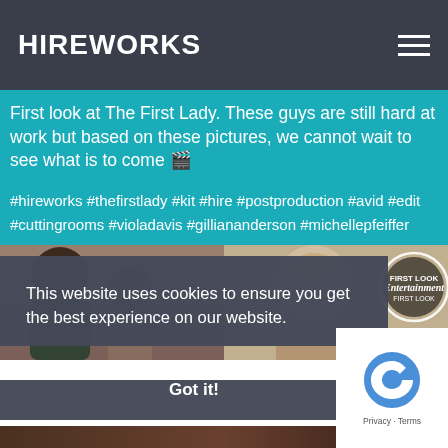HIREWORKS
First look at The First Lady. These guys are still hard at work but based on these pictures, we cannot wait to see what is to come 🎬
#hireworks #thefirstlady #kit #hire #postproduction #avid #edit #cuttingrooms #violadavis #gilliananderson #michellepfeiffer
[Figure (photo): Two side-by-side stills from The First Lady TV show: left shows women in an interior scene, right shows a woman with updo hairstyle and an Entertainment Weekly 'First Look' badge]
This website uses cookies to ensure you get the best experience on our website.
Got it!